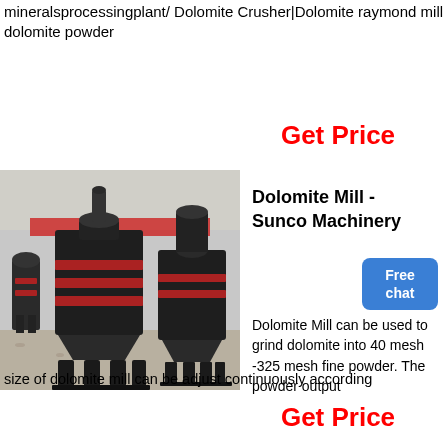mineralsprocessingplant/ Dolomite Crusher|Dolomite raymond mill dolomite powder
Get Price
[Figure (photo): Industrial dolomite grinding mills (Raymond mills) on display in a factory/warehouse setting. Large black metal machines with multi-level grinding rings and structural frames on a gravel floor.]
Dolomite Mill - Sunco Machinery
Dolomite Mill can be used to grind dolomite into 40 mesh -325 mesh fine powder. The powder output size of dolomite mill can be adjust continuously according
Get Price